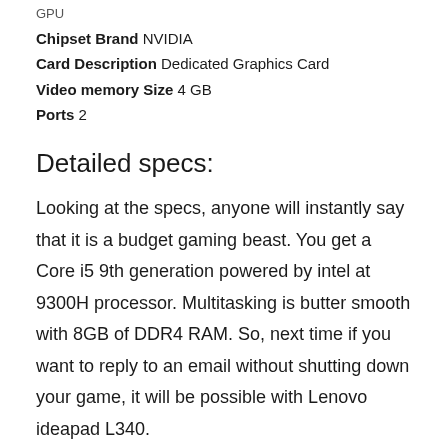GPU
Chipset Brand NVIDIA
Card Description Dedicated Graphics Card
Video memory Size 4 GB
Ports 2
Detailed specs:
Looking at the specs, anyone will instantly say that it is a budget gaming beast. You get a Core i5 9th generation powered by intel at 9300H processor. Multitasking is butter smooth with 8GB of DDR4 RAM. So, next time if you want to reply to an email without shutting down your game, it will be possible with Lenovo ideapad L340.